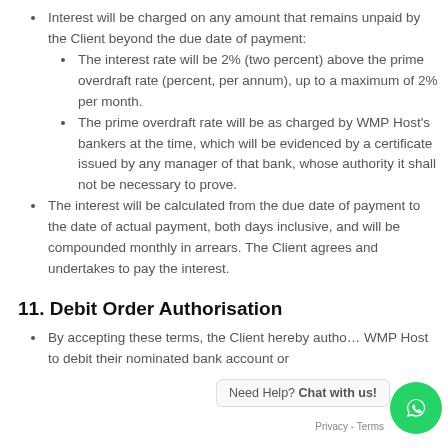Interest will be charged on any amount that remains unpaid by the Client beyond the due date of payment:
The interest rate will be 2% (two percent) above the prime overdraft rate (percent, per annum), up to a maximum of 2% per month.
The prime overdraft rate will be as charged by WMP Host's bankers at the time, which will be evidenced by a certificate issued by any manager of that bank, whose authority it shall not be necessary to prove.
The interest will be calculated from the due date of payment to the date of actual payment, both days inclusive, and will be compounded monthly in arrears. The Client agrees and undertakes to pay the interest.
11. Debit Order Authorisation
By accepting these terms, the Client hereby authorises WMP Host to debit their nominated bank account or